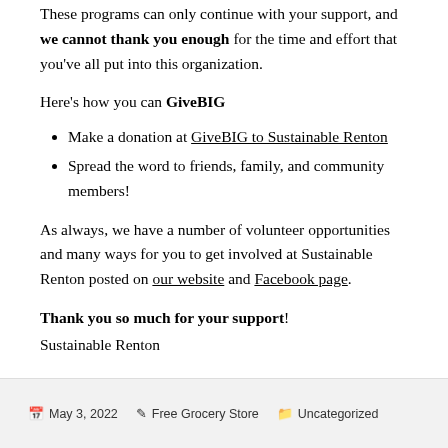These programs can only continue with your support, and we cannot thank you enough for the time and effort that you've all put into this organization.
Here's how you can GiveBIG
Make a donation at GiveBIG to Sustainable Renton
Spread the word to friends, family, and community members!
As always, we have a number of volunteer opportunities and many ways for you to get involved at Sustainable Renton posted on our website and Facebook page.
Thank you so much for your support! Sustainable Renton
May 3, 2022   Free Grocery Store   Uncategorized   Leave a comment